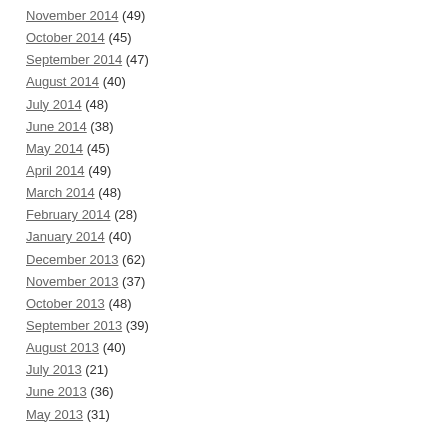November 2014 (49)
October 2014 (45)
September 2014 (47)
August 2014 (40)
July 2014 (48)
June 2014 (38)
May 2014 (45)
April 2014 (49)
March 2014 (48)
February 2014 (28)
January 2014 (40)
December 2013 (62)
November 2013 (37)
October 2013 (48)
September 2013 (39)
August 2013 (40)
July 2013 (21)
June 2013 (36)
May 2013 (31)